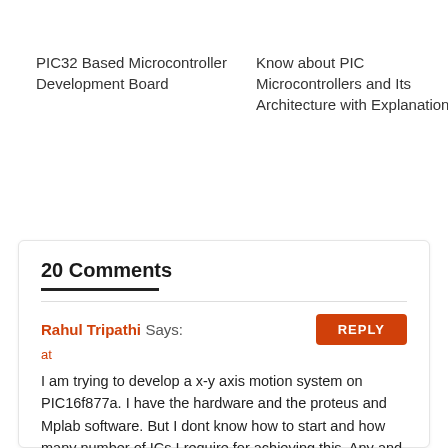PIC32 Based Microcontroller Development Board
Know about PIC Microcontrollers and Its Architecture with Explanation
20 Comments
Rahul Tripathi Says:
at
I am trying to develop a x-y axis motion system on PIC16f877a. I have the hardware and the proteus and Mplab software. But I dont know how to start and how many number of ICs I require for achieving this. Any and